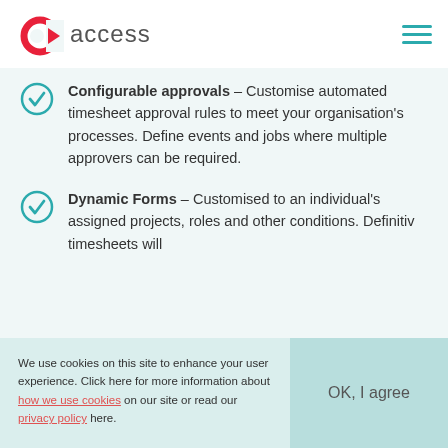[Figure (logo): Access company logo: red circular arrow icon with the word 'access' in grey]
Configurable approvals – Customise automated timesheet approval rules to meet your organisation's processes. Define events and jobs where multiple approvers can be required.
Dynamic Forms – Customised to an individual's assigned projects, roles and other conditions. Definitiv timesheets will
We use cookies on this site to enhance your user experience. Click here for more information about how we use cookies on our site or read our privacy policy here.
OK, I agree